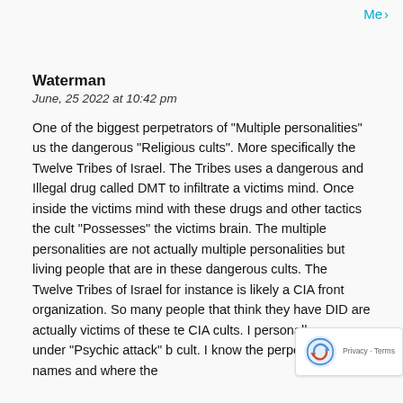Me ›
Waterman
June, 25 2022 at 10:42 pm
One of the biggest perpetrators of "Multiple personalities" us the dangerous "Religious cults". More specifically the Twelve Tribes of Israel. The Tribes uses a dangerous and Illegal drug called DMT to infiltrate a victims mind. Once inside the victims mind with these drugs and other tactics the cult "Possesses" the victims brain. The multiple personalities are not actually multiple personalities but living people that are in these dangerous cults. The Twelve Tribes of Israel for instance is likely a CIA front organization. So many people that think they have DID are actually victims of these te CIA cults. I personally am under "Psychic attack" b cult. I know the perpetrators names and where the